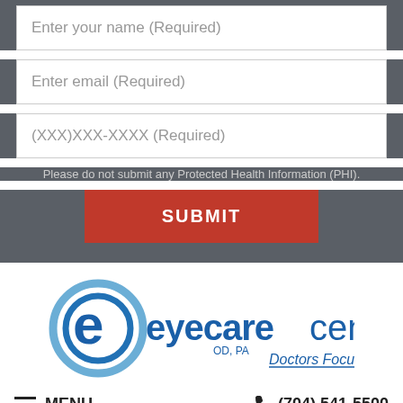Enter your name (Required)
Enter email (Required)
(XXX)XXX-XXXX (Required)
Please do not submit any Protected Health Information (PHI).
SUBMIT
[Figure (logo): Eye Care Center OD, PA logo with circular eye icon and tagline 'Doctors Focused on You.']
MENU
(704) 541-5500
Find us on the map